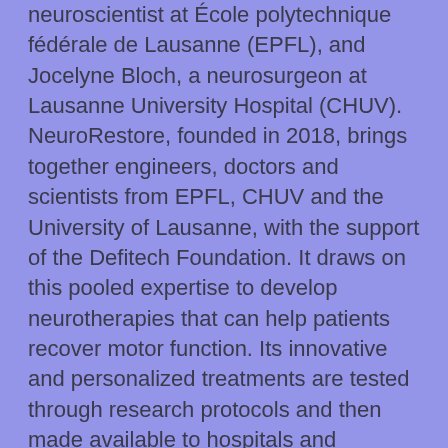neuroscientist at École polytechnique fédérale de Lausanne (EPFL), and Jocelyne Bloch, a neurosurgeon at Lausanne University Hospital (CHUV). NeuroRestore, founded in 2018, brings together engineers, doctors and scientists from EPFL, CHUV and the University of Lausanne, with the support of the Defitech Foundation. It draws on this pooled expertise to develop neurotherapies that can help patients recover motor function. Its innovative and personalized treatments are tested through research protocols and then made available to hospitals and patients. NeuroRestore is also committed to training the next generation of health-care professionals and engineers on the use of these novel therapeutic approaches.
About ONWARD
ONWARD is a medical technology company